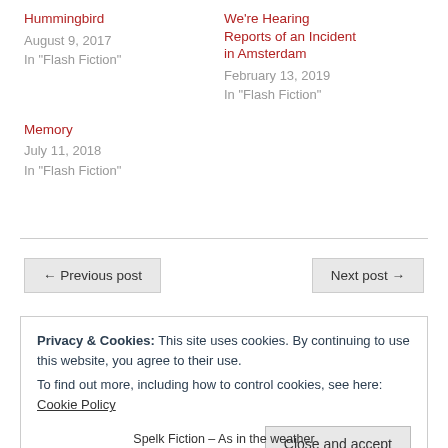Hummingbird
August 9, 2017
In "Flash Fiction"
We're Hearing Reports of an Incident in Amsterdam
February 13, 2019
In "Flash Fiction"
Memory
July 11, 2018
In "Flash Fiction"
← Previous post
Next post →
Privacy & Cookies: This site uses cookies. By continuing to use this website, you agree to their use.
To find out more, including how to control cookies, see here: Cookie Policy
Close and accept
Spelk Fiction – As in the weather